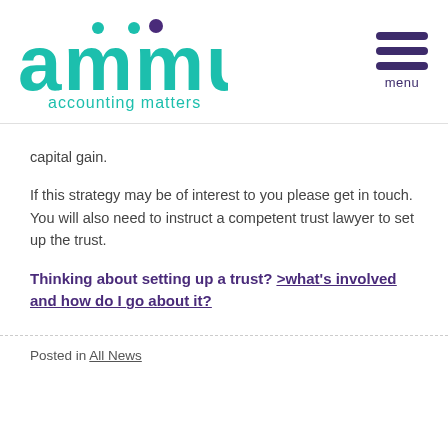[Figure (logo): ammu accounting matters logo — teal lettering with purple dots above 'a' and 'm', tagline 'accounting matters' in teal below]
capital gain.
If this strategy may be of interest to you please get in touch. You will also need to instruct a competent trust lawyer to set up the trust.
Thinking about setting up a trust? >what's involved and how do I go about it?
Posted in All News